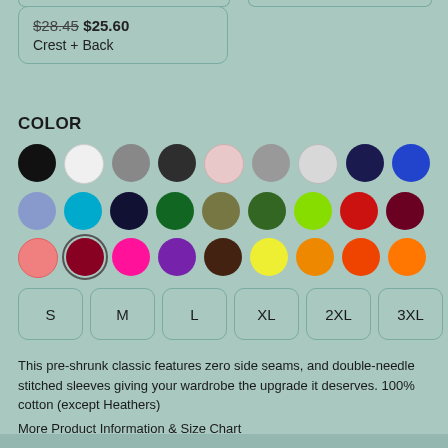$28.45 $25.60
Crest + Back
COLOR
[Figure (infographic): Grid of color swatches (circles) showing available shirt colors: black, white, gray, dark gray, light pink, medium gray, light gray, navy, royal blue, light blue, teal, dark navy, dark green, olive, forest green, lime green, red, maroon, pink, dark red/maroon (selected), hot pink, purple, brown, yellow, orange, orange-red, orange]
S  M  L  XL  2XL  3XL
This pre-shrunk classic features zero side seams, and double-needle stitched sleeves giving your wardrobe the upgrade it deserves. 100% cotton (except Heathers)
More Product Information & Size Chart